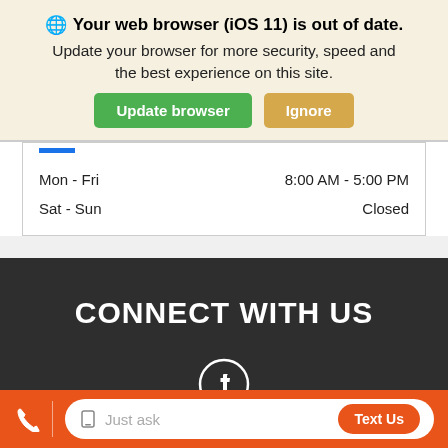Your web browser (iOS 11) is out of date. Update your browser for more security, speed and the best experience on this site.
[Figure (screenshot): Browser update notification banner with 'Update browser' (green) and 'Ignore' (tan/orange) buttons]
| Day | Hours |
| --- | --- |
| Mon - Fri | 8:00 AM - 5:00 PM |
| Sat - Sun | Closed |
CONNECT WITH US
[Figure (logo): Facebook logo icon - white F in white circle outline on dark background]
Just ask
Text Us